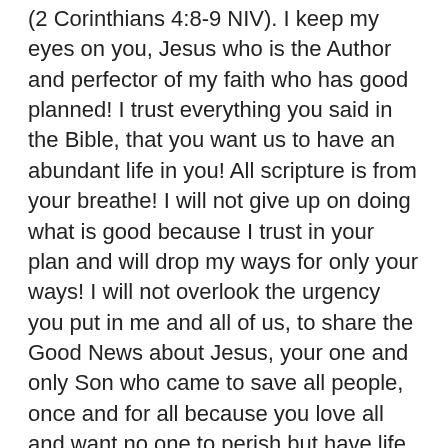(2 Corinthians 4:8-9 NIV). I keep my eyes on you, Jesus who is the Author and perfector of my faith who has good planned! I trust everything you said in the Bible, that you want us to have an abundant life in you! All scripture is from your breathe! I will not give up on doing what is good because I trust in your plan and will drop my ways for only your ways! I will not overlook the urgency you put in me and all of us, to share the Good News about Jesus, your one and only Son who came to save all people, once and for all because you love all and want no one to perish but have life in you! I will fix my eyes on you even if things like when I slipped of the counter in the process of moving last year made it difficult to move around. I will lean heavily on you